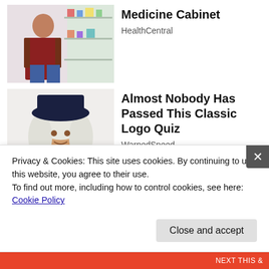[Figure (photo): Person in a pharmacy/medicine aisle]
Medicine Cabinet
HealthCentral
[Figure (photo): Person dressed as old-fashioned character with hat and wig]
Almost Nobody Has Passed This Classic Logo Quiz
WarpedSpeed
[Figure (photo): Close-up of fingers holding a medical pen or lancet device]
Privacy & Cookies: This site uses cookies. By continuing to use this website, you agree to their use.
To find out more, including how to control cookies, see here: Cookie Policy
Close and accept